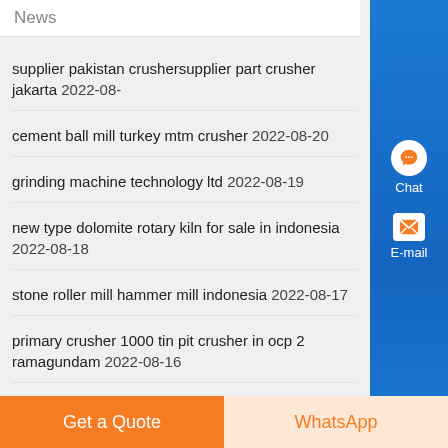News
supplier pakistan crushersupplier part crusher jakarta  2022-08-
cement ball mill turkey mtm crusher  2022-08-20
grinding machine technology ltd  2022-08-19
new type dolomite rotary kiln for sale in indonesia  2022-08-18
stone roller mill hammer mill indonesia  2022-08-17
primary crusher 1000 tin pit crusher in ocp 2 ramagundam  2022-08-16
flowchart iron sand mining  2022-08-15
ball mill mining process  2022-08-14
want to be xzm ultrafine mill in malaysia  2022-08-13
small scale gold processing plant south africa  2022-08-12